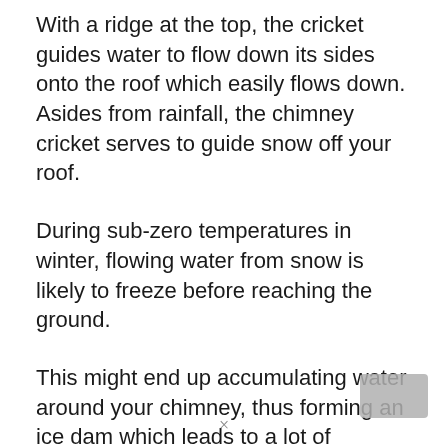With a ridge at the top, the cricket guides water to flow down its sides onto the roof which easily flows down. Asides from rainfall, the chimney cricket serves to guide snow off your roof.
During sub-zero temperatures in winter, flowing water from snow is likely to freeze before reaching the ground.
This might end up accumulating water around your chimney, thus forming an ice dam which leads to a lot of moisture issues. Your chimney cricket comes to the